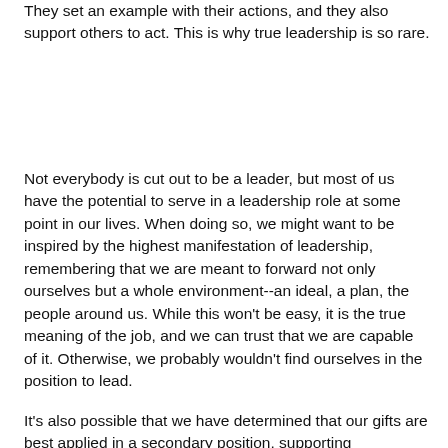They set an example with their actions, and they also support others to act. This is why true leadership is so rare.
Not everybody is cut out to be a leader, but most of us have the potential to serve in a leadership role at some point in our lives. When doing so, we might want to be inspired by the highest manifestation of leadership, remembering that we are meant to forward not only ourselves but a whole environment--an ideal, a plan, the people around us. While this won't be easy, it is the true meaning of the job, and we can trust that we are capable of it. Otherwise, we probably wouldn't find ourselves in the position to lead.
It's also possible that we have determined that our gifts are best applied in a secondary position, supporting